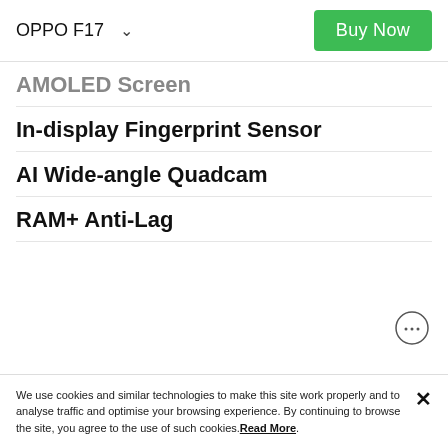OPPO F17  ∨  Buy Now
AMOLED Screen
In-display Fingerprint Sensor
AI Wide-angle Quadcam
RAM+ Anti-Lag
We use cookies and similar technologies to make this site work properly and to analyse traffic and optimise your browsing experience. By continuing to browse the site, you agree to the use of such cookies. Read More.